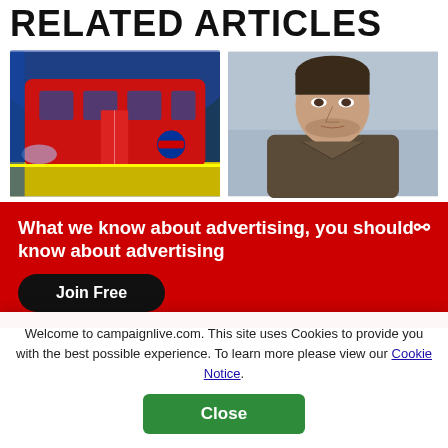RELATED ARTICLES
[Figure (photo): A red London Underground tube train at a station platform, with the roundel logo visible on the side.]
[Figure (photo): Close-up of a man's face outdoors, looking serious, in muted/grey lighting.]
What we know about advertising, you should know about advertising
Join Free
Welcome to campaignlive.com. This site uses Cookies to provide you with the best possible experience. To learn more please view our Cookie Notice.
Close